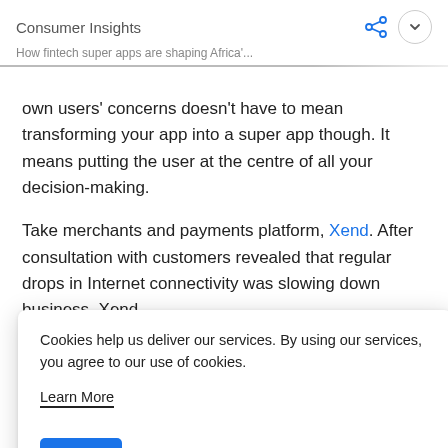Consumer Insights
How fintech super apps are shaping Africa'...
own users' concerns doesn't have to mean transforming your app into a super app though. It means putting the user at the centre of all your decision-making.
Take merchants and payments platform, Xend. After consultation with customers revealed that regular drops in Internet connectivity was slowing down business, Xend
Cookies help us deliver our services. By using our services, you agree to our use of cookies.

Learn More

Got It
The success of fintech